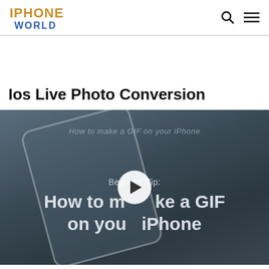IPHONE WORLD
Ios Live Photo Conversion
[Figure (screenshot): Video thumbnail showing a smartphone held in hand with text overlay: 'Beginner Tip: How to make a GIF on your iPhone' with a play button in the center]